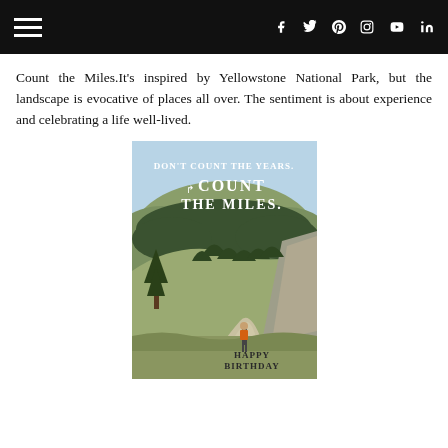Navigation header with hamburger menu and social icons: f (Facebook), Twitter, Pinterest, Instagram, YouTube, LinkedIn
Count the Miles.It's inspired by Yellowstone National Park, but the landscape is evocative of places all over. The sentiment is about experience and celebrating a life well-lived.
[Figure (illustration): Birthday greeting card illustration showing a mountain landscape inspired by Yellowstone National Park. A hiker with an orange backpack walks a path. Text on card reads: DON'T COUNT THE YEARS. COUNT THE MILES. HAPPY BIRTHDAY]